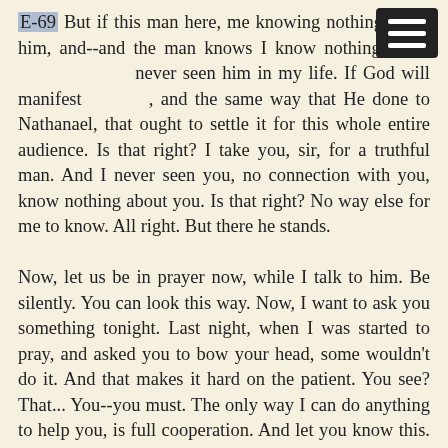E-69 But if this man here, me knowing nothing about him, and--and the man knows I know nothing about him, never seen him in my life. If God will manifest Himself, and the same way that He done to Nathanael, that ought to settle it for this whole entire audience. Is that right? I take you, sir, for a truthful man. And I never seen you, no connection with you, know nothing about you. Is that right? No way else for me to know. All right. But there he stands.
Now, let us be in prayer now, while I talk to him. Be silently. You can look this way. Now, I want to ask you something tonight. Last night, when I was started to pray, and asked you to bow your head, some wouldn't do it. And that makes it hard on the patient. You see? That... You--you must. The only way I can do anything to help you, is full cooperation. And let you know this. That when them strange diseases goes out of the people, remember, you're not immune from them. And they're perfectly helpless until they're embodied. And he